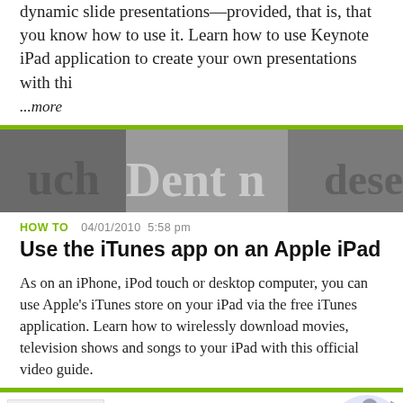dynamic slide presentations—provided, that is, that you know how to use it. Learn how to use Keynote iPad application to create your own presentations with thi ...more
[Figure (photo): Close-up photo of printed text on paper, showing partial words including 'Dent' in large serif font, blurred background]
HOW TO   04/01/2010 5:58 pm
Use the iTunes app on an Apple iPad
As on an iPhone, iPod touch or desktop computer, you can use Apple's iTunes store on your iPad via the free iTunes application. Learn how to wirelessly download movies, television shows and songs to your iPad with this official video guide.
[Figure (screenshot): Nike advertisement banner: Nike. Just Do It — Inspiring the world's athletes, Nike delivers the deals — www.nike.com, with arrow button on right]